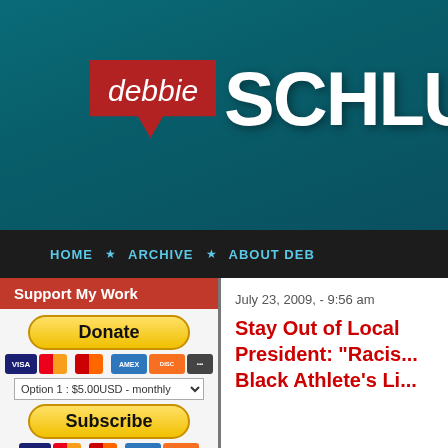[Figure (screenshot): Website header banner with teal/dark green background showing 'debbie SCHLUS' logo — 'debbie' in a red speech bubble box and 'SCHLUS' in large white bold text]
HOME ★ ARCHIVE ★ ABOUT DEB
Support My Work
Donate | Option 1 : $5.00USD - monthly | Subscribe
July 23, 2009, - 9:56 am
Stay Out of Local President: "Racis... Black Athlete's Li...